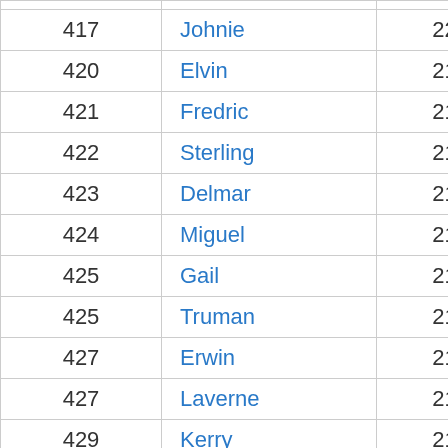| Rank | Name | Count |
| --- | --- | --- |
| 417 | Johnie | 220 |
| 420 | Elvin | 219 |
| 421 | Fredric | 218 |
| 422 | Sterling | 217 |
| 423 | Delmar | 215 |
| 424 | Miguel | 214 |
| 425 | Gail | 213 |
| 425 | Truman | 213 |
| 427 | Erwin | 212 |
| 427 | Laverne | 212 |
| 429 | Kerry | 211 |